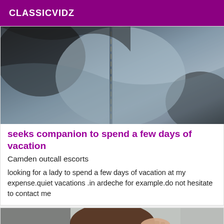CLASSICVIDZ
[Figure (photo): Close-up photo of blue denim jeans fabric showing seam detail]
seeks companion to spend a few days of vacation
Camden outcall escorts
looking for a lady to spend a few days of vacation at my expense.quiet vacations .in ardeche for example.do not hesitate to contact me
[Figure (photo): Photo of a person with brown hair, partially visible, someone's hand near their head]